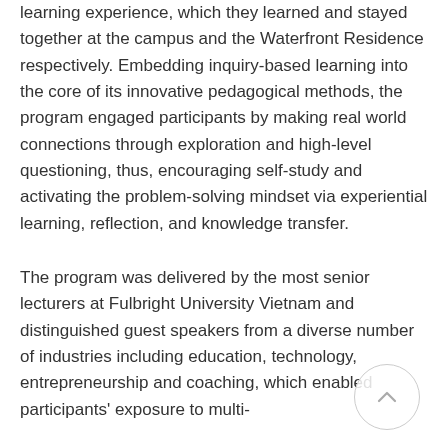learning experience, which they learned and stayed together at the campus and the Waterfront Residence respectively. Embedding inquiry-based learning into the core of its innovative pedagogical methods, the program engaged participants by making real world connections through exploration and high-level questioning, thus, encouraging self-study and activating the problem-solving mindset via experiential learning, reflection, and knowledge transfer.
The program was delivered by the most senior lecturers at Fulbright University Vietnam and distinguished guest speakers from a diverse number of industries including education, technology, entrepreneurship and coaching, which enabled participants' exposure to multi-